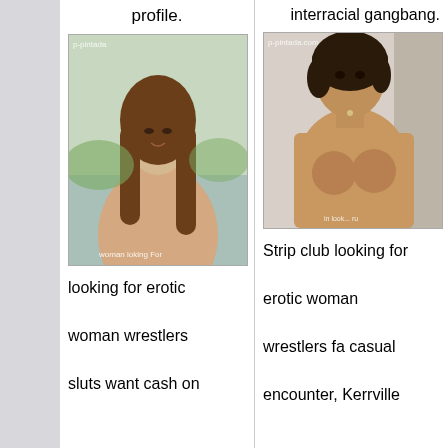profile.
interracial gangbang.
[Figure (photo): Young woman with long brown hair, nude torso, watermark p-pintada, text 'woman looking for']
[Figure (photo): Woman with dark short hair, nude torso, watermark p-pintada.com, text partially visible]
looking for erotic woman wrestlers sluts want cash on
Strip club looking for erotic woman wrestlers fa casual encounter, Kerrville